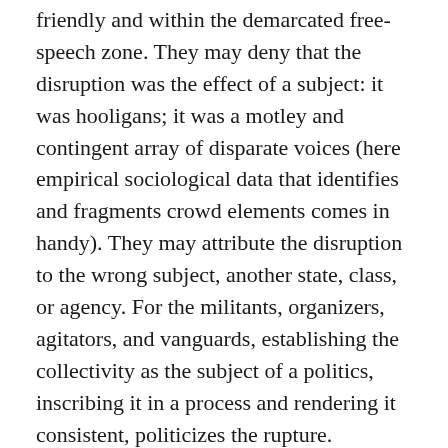friendly and within the demarcated free-speech zone. They may deny that the disruption was the effect of a subject: it was hooligans; it was a motley and contingent array of disparate voices (here empirical sociological data that identifies and fragments crowd elements comes in handy). They may attribute the disruption to the wrong subject, another state, class, or agency. For the militants, organizers, agitators, and vanguards, establishing the collectivity as the subject of a politics, inscribing it in a process and rendering it consistent, politicizes the rupture.
Subjectification and the subjective process are connected by an anticipation and a lag. To disrupt and surprise, subjectification has to come too soon. It can't be predicted, expected, or natural, for that would mean that it remained within the order of things.